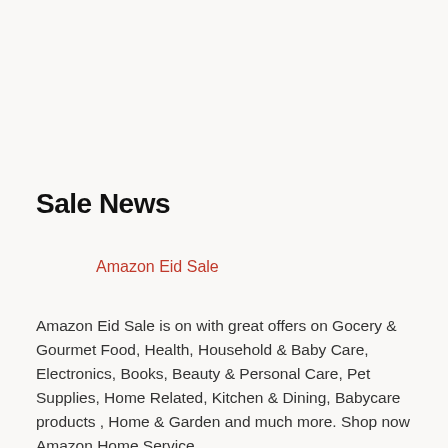Sale News
Amazon Eid Sale
Amazon Eid Sale is on with great offers on Gocery & Gourmet Food, Health, Household & Baby Care, Electronics, Books, Beauty & Personal Care, Pet Supplies, Home Related, Kitchen & Dining, Babycare products , Home & Garden and much more. Shop now   Amazon Home Service